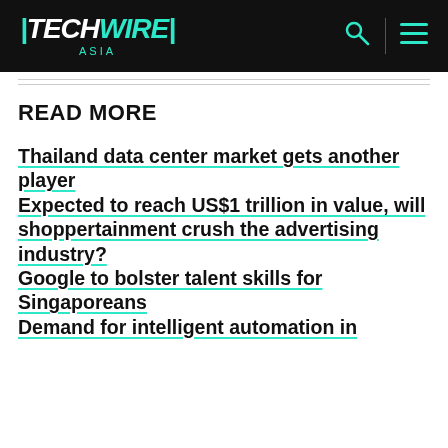TECHWIRE ASIA
READ MORE
Thailand data center market gets another player
Expected to reach US$1 trillion in value, will shoppertainment crush the advertising industry?
Google to bolster talent skills for Singaporeans
Demand for intelligent automation in